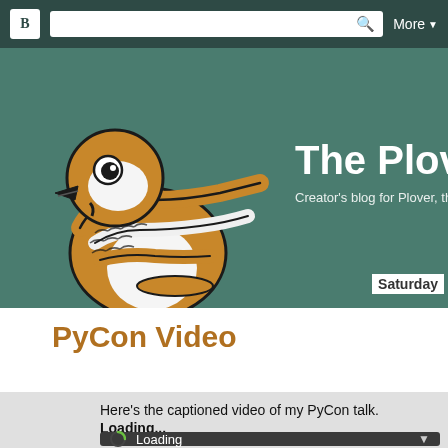Blogger navigation bar with search and More menu
[Figure (illustration): Cartoon plover bird illustration — golden/brown bird with white belly, outstretched wing, walking pose, black outline style]
The Plove
Creator's blog for Plover, th
Saturday
PyCon Video
Here's the captioned video of my PyCon talk.
Loading...
[Figure (screenshot): Video player loading widget — dark gray bar with green spinner icon, 'Loading' text, and dropdown arrow]